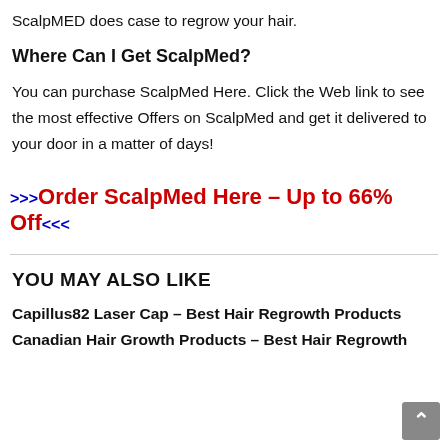ScalpMED does case to regrow your hair.
Where Can I Get ScalpMed?
You can purchase ScalpMed Here. Click the Web link to see the most effective Offers on ScalpMed and get it delivered to your door in a matter of days!
>>>Order ScalpMed Here – Up to 66% Off<<<
YOU MAY ALSO LIKE
Capillus82 Laser Cap – Best Hair Regrowth Products
Canadian Hair Growth Products – Best Hair Regrowth